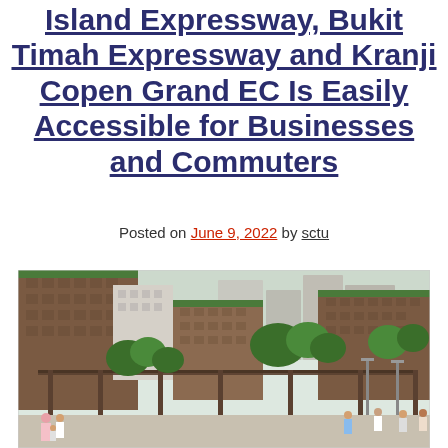Island Expressway, Bukit Timah Expressway and Kranji Copen Grand EC Is Easily Accessible for Businesses and Commuters
Posted on June 9, 2022 by sctu
[Figure (photo): Architectural rendering of Copen Grand EC development showing residential buildings with green rooftops, a covered walkway/plaza area with trees and landscaping, and people walking in the foreground.]